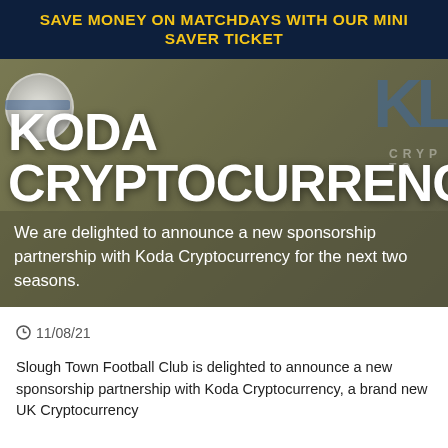SAVE MONEY ON MATCHDAYS WITH OUR MINI SAVER TICKET
[Figure (photo): Hero image with 'KODA CRYPTOCURRENCY' text overlaid on a background showing football club imagery with club logo circle and blue KL letters. White text overlay at bottom reads: We are delighted to announce a new sponsorship partnership with Koda Cryptocurrency for the next two seasons.]
11/08/21
Slough Town Football Club is delighted to announce a new sponsorship partnership with Koda Cryptocurrency, a brand new UK Cryptocurrency